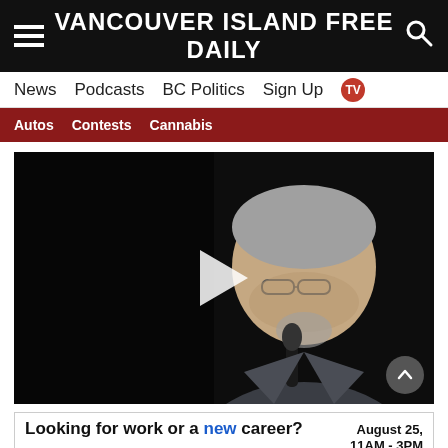VANCOUVER ISLAND FREE DAILY
News  Podcasts  BC Politics  Sign Up  TV
Autos  Contests  Cannabis
[Figure (photo): Video thumbnail showing a grey-haired man in a suit speaking into a microphone against a dark background, with a white play button overlay in the center and a scroll-to-top button in the bottom right corner.]
Looking for work or a new career?  August 25, 11AM - 3PM  Featuring 25+ Exhibitors and Growing!  CLICK HERE